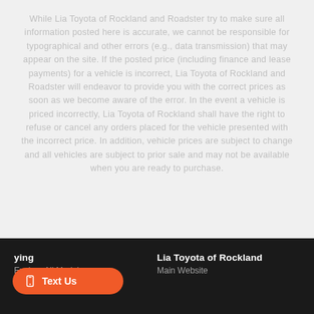While Lia Toyota of Rockland and Roadster try to make sure all information posted here is accurate, we cannot be responsible for typographical and other errors (e.g., data transmission) that may appear on the site. If the posted price (including finance and lease payments) for a vehicle is incorrect, Lia Toyota of Rockland and Roadster will endeavor to provide you with the correct prices as soon as we become aware of the error. In the event a vehicle is priced incorrectly, Lia Toyota of Rockland shall have the right to refuse or cancel any orders placed for the vehicle presented with the incorrect price. In addition, vehicle prices are subject to change and all vehicles are subject to prior sale and may not be available when you are ready to purchase.
ying | Lia Toyota of Rockland
Explore All Models | Main Website